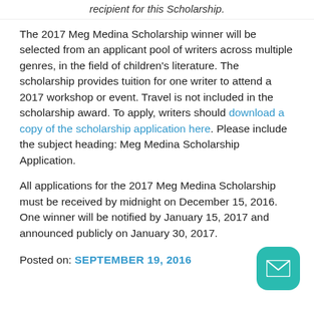recipient for this Scholarship.
The 2017 Meg Medina Scholarship winner will be selected from an applicant pool of writers across multiple genres, in the field of children’s literature. The scholarship provides tuition for one writer to attend a 2017 workshop or event. Travel is not included in the scholarship award. To apply, writers should download a copy of the scholarship application here. Please include the subject heading: Meg Medina Scholarship Application.
All applications for the 2017 Meg Medina Scholarship must be received by midnight on December 15, 2016. One winner will be notified by January 15, 2017 and announced publicly on January 30, 2017.
Posted on: SEPTEMBER 19, 2016
[Figure (illustration): Teal rounded-square email button icon in bottom right corner]